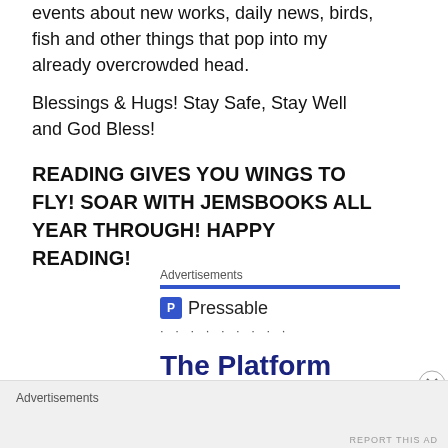events about new works, daily news, birds, fish and other things that pop into my already overcrowded head.
Blessings & Hugs! Stay Safe, Stay Well and God Bless!
READING GIVES YOU WINGS TO FLY! SOAR WITH JEMSBOOKS ALL YEAR THROUGH! HAPPY READING!
[Figure (screenshot): Pressable advertisement showing the Pressable logo with blue square P icon, dots row, and text 'The Platform Where WordPress']
Advertisements
REPORT THIS AD